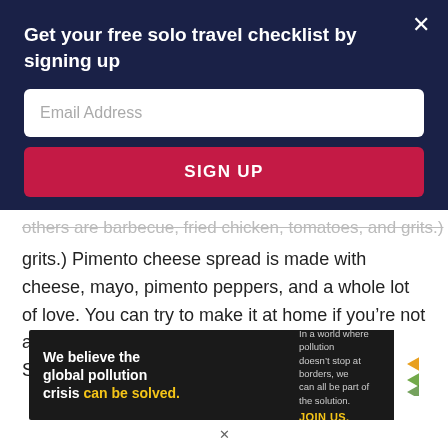Get your free solo travel checklist by signing up
Email Address
SIGN UP
others are barbecue, fried chicken, tomatoes, and grits.) Pimento cheese spread is made with cheese, mayo, pimento peppers, and a whole lot of love. You can try to make it at home if you’re not a Southerner, but I think it just tastes better in the South.
[Figure (screenshot): Pure Earth advertisement banner: black background left side reads 'We believe the global pollution crisis can be solved.' with 'can be solved.' in yellow. Right side of dark panel reads 'In a world where pollution doesn’t stop at borders, we can all be part of the solution. JOIN US.' in yellow. White panel on right shows Pure Earth logo (gold/green diamond stacked chevrons) and text 'PURE EARTH' in bold black.]